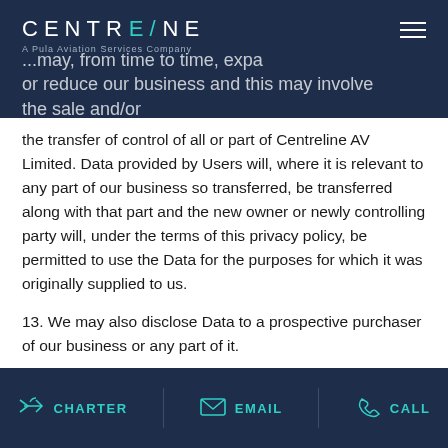CENTRELINE — A Pula Aviation Services Company
...may, from time to time, expand or reduce our business and this may involve the sale and/or the transfer of control of all or part of Centreline AV Limited. Data provided by Users will, where it is relevant to any part of our business so transferred, be transferred along with that part and the new owner or newly controlling party will, under the terms of this privacy policy, be permitted to use the Data for the purposes for which it was originally supplied to us.
13. We may also disclose Data to a prospective purchaser of our business or any part of it.
14. In the above instances, we will take steps with the aim of ensuring your privacy is protected.
CHARTER  EMAIL  CALL